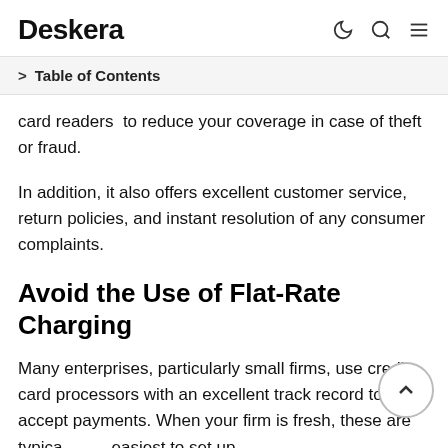Deskera
> Table of Contents
card readers  to reduce your coverage in case of theft or fraud.
In addition, it also offers excellent customer service, return policies, and instant resolution of any consumer complaints.
Avoid the Use of Flat-Rate Charging
Many enterprises, particularly small firms, use credit card processors with an excellent track record to accept payments. When your firm is fresh, these are typically the easiest to set up.